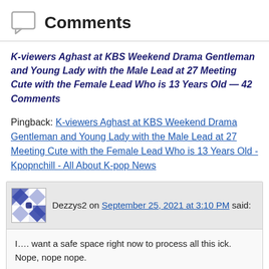Comments
K-viewers Aghast at KBS Weekend Drama Gentleman and Young Lady with the Male Lead at 27 Meeting Cute with the Female Lead Who is 13 Years Old — 42 Comments
Pingback: K-viewers Aghast at KBS Weekend Drama Gentleman and Young Lady with the Male Lead at 27 Meeting Cute with the Female Lead Who is 13 Years Old - Kpopnchill - All About K-pop News
Dezzys2 on September 25, 2021 at 3:10 PM said:
I…. want a safe space right now to process all this ick. Nope, nope nope.

Nope. I don't blame the actors – but the writer should be drug tested. Passing on this. I don't love bug age gap romances anyways… but the initial meeting is just gross.